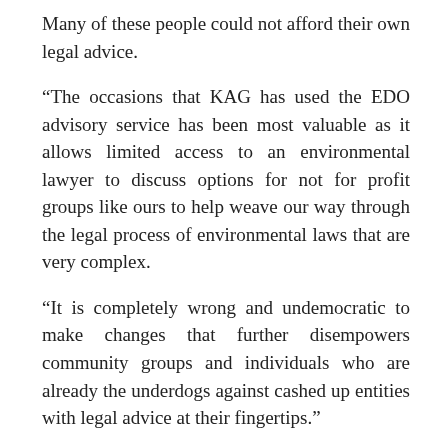Many of these people could not afford their own legal advice.
“The occasions that KAG has used the EDO advisory service has been most valuable as it allows limited access to an environmental lawyer to discuss options for not for profit groups like ours to help weave our way through the legal process of environmental laws that are very complex.
“It is completely wrong and undemocratic to make changes that further disempowers community groups and individuals who are already the underdogs against cashed up entities with legal advice at their fingertips.”
Community Legal Centres director Rosslyn Monro urged the LNP to reverse its decision as it would have a devastating impact on regional communities that relied on the service.
“Access to justice is not just for the wealthy,” she said.